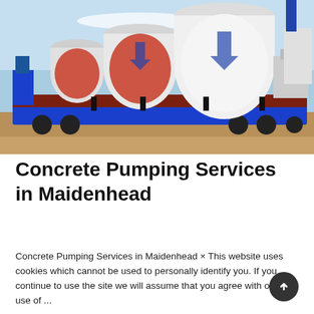[Figure (photo): Large white cylindrical concrete mixer drums loaded on a flatbed truck trailer with a blue frame, photographed outdoors on a sunny day.]
Concrete Pumping Services in Maidenhead
Concrete Pumping Services in Maidenhead × This website uses cookies which cannot be used to personally identify you. If you continue to use the site we will assume that you agree with our use of ...